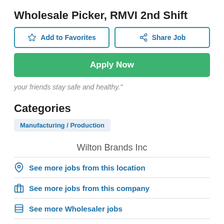Wholesale Picker, RMVI 2nd Shift
Add to Favorites | Share Job
Apply Now
your friends stay safe and healthy."
Categories
Manufacturing / Production
Wilton Brands Inc
See more jobs from this location
See more jobs from this company
See more Wholesaler jobs
Back to Browse Results